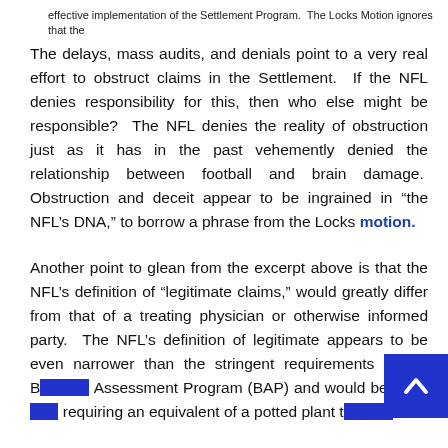effective implementation of the Settlement Program.  The Locks Motion ignores that the
The delays, mass audits, and denials point to a very real effort to obstruct claims in the Settlement.  If the NFL denies responsibility for this, then who else might be responsible?  The NFL denies the reality of obstruction just as it has in the past vehemently denied the relationship between football and brain damage.  Obstruction and deceit appear to be ingrained in “the NFL’s DNA,” to borrow a phrase from the Locks motion.
Another point to glean from the excerpt above is that the NFL’s definition of “legitimate claims,” would greatly differ from that of a treating physician or otherwise informed party.  The NFL’s definition of legitimate appears to be even narrower than the stringent requirements of the Baseline Assessment Program (BAP) and would be more … requiring an equivalent of a potted plant to show … cognitive impairment, which strains it the reality of